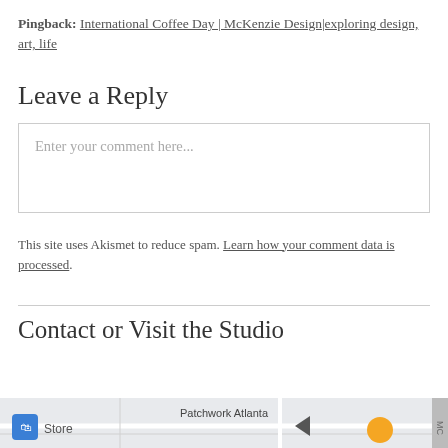Pingback: International Coffee Day | McKenzie Design|exploring design, art, life
Leave a Reply
Enter your comment here...
This site uses Akismet to reduce spam. Learn how your comment data is processed.
Contact or Visit the Studio
[Figure (map): Partial Google Maps view showing studio location with store icon, map label 'Patchwork Atlanta', navigation arrow, and orange map pin. Right edge shows vertical label 'MC'.]